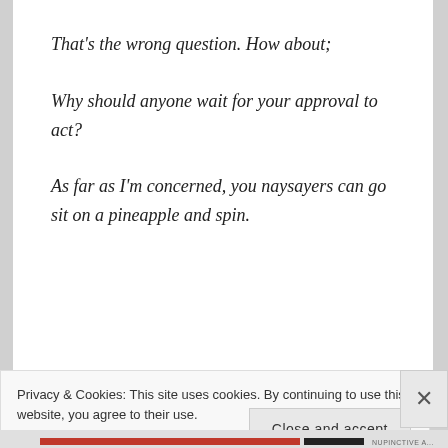That's the wrong question. How about;
Why should anyone wait for your approval to act?
As far as I'm concerned, you naysayers can go sit on a pineapple and spin.
Privacy & Cookies: This site uses cookies. By continuing to use this website, you agree to their use. To find out more, including how to control cookies, see here: Cookie Policy